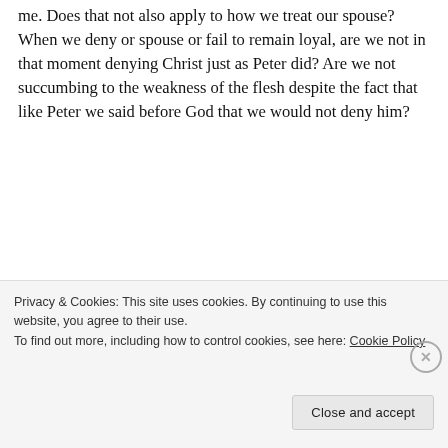me. Does that not also apply to how we treat our spouse? When we deny or spouse or fail to remain loyal, are we not in that moment denying Christ just as Peter did? Are we not succumbing to the weakness of the flesh despite the fact that like Peter we said before God that we would not deny him?
[Figure (screenshot): Jetpack advertisement banner with green background showing 'The best real-time WordPress backup plugin' with a 'Back up your site' button]
Privacy & Cookies: This site uses cookies. By continuing to use this website, you agree to their use. To find out more, including how to control cookies, see here: Cookie Policy
Close and accept